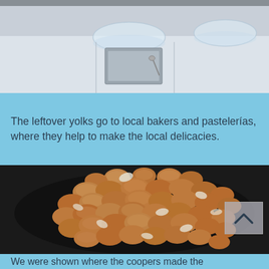[Figure (photo): A kitchen counter with clear glass bowls and a metal tray visible at the top portion of the image.]
The leftover yolks go to local bakers and pastelerías, where they help to make the local delicacies.
[Figure (photo): A large pile of broken brown eggshells collected in a black plastic bag or tray.]
We were shown where the coopers made the